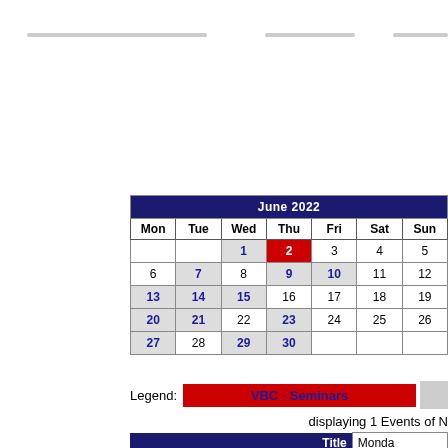[Figure (other): June 2022 calendar showing Mon-Sun layout with VBC Seminars events highlighted in gray and red. Day 2 highlighted in red, various days in blue bold.]
Legend: VBC - Seminars
displaying 1 Events of M...
| Title | Monda... |
| --- | --- |
| Date | Mon... |